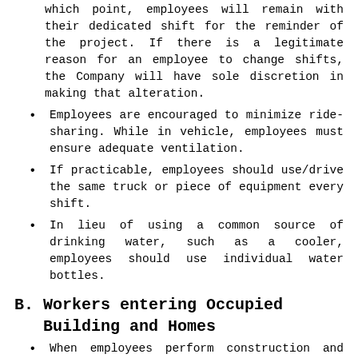which point, employees will remain with their dedicated shift for the reminder of the project. If there is a legitimate reason for an employee to change shifts, the Company will have sole discretion in making that alteration.
Employees are encouraged to minimize ride-sharing. While in vehicle, employees must ensure adequate ventilation.
If practicable, employees should use/drive the same truck or piece of equipment every shift.
In lieu of using a common source of drinking water, such as a cooler, employees should use individual water bottles.
B.    Workers entering Occupied Building and Homes
When employees perform construction and maintenance activities within occupied homes,